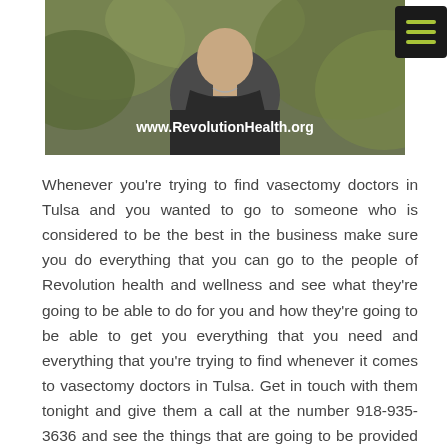[Figure (photo): A person in dark clothing photographed from the shoulders up, with plants/foliage in the background. The URL www.RevolutionHealth.org is overlaid in white text at the bottom of the image. A dark hamburger menu icon with green lines is in the top-right corner.]
Whenever you're trying to find vasectomy doctors in Tulsa and you wanted to go to someone who is considered to be the best in the business make sure you do everything that you can go to the people of Revolution health and wellness and see what they're going to be able to do for you and how they're going to be able to get you everything that you need and everything that you're trying to find whenever it comes to vasectomy doctors in Tulsa. Get in touch with them tonight and give them a call at the number 918-935-3636 and see the things that are going to be provided to you and how they're going to be up to get you everything that you need and everything that you are trying to find whenever it comes to vasectomy doctors